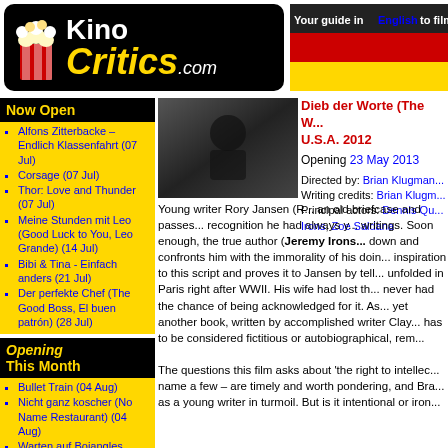[Figure (logo): KinoCritics.com logo with popcorn icon on black background]
[Figure (illustration): German flag stripe (black, red, gold) with tagline 'Your guide in English to film']
Now Open
Alfons Zitterbacke – Endlich Klassenfahrt (07 Jul)
Corsage (07 Jul)
Thor: Love and Thunder (07 Jul)
Meine Stunden mit Leo (Good Luck to You, Leo Grande) (14 Jul)
Bibi & Tina - Einfach anders (21 Jul)
Der perfekte Chef (The Good Boss, El buen patrón) (28 Jul)
Opening This Month
Bullet Train (04 Aug)
Nicht ganz koscher (No Name Restaurant) (04 Aug)
Warten auf Bojangles (Waiting for Bojangles, En attendant Bojangles) (04 Aug)
Alcarràs - Die letzte Ernte (Alcarràs) (11 Aug)
[Figure (photo): Film still from Dieb der Worte (The Words), showing a dark cinematic scene]
Dieb der Worte (The W... U.S.A. 2012
Opening 23 May 2013
Directed by: Brian Klugman... Writing credits: Brian Klugm... Principal actors: Dennis Qu... Irons, Zoe Saldana
Young writer Rory Jansen (R... an old briefcase and passes... recognition he had always y... writings. Soon enough, the true author (Jeremy Irons... down and confronts him with the immorality of his doin... inspiration to this script and proves it to Jansen by tell... unfolded in Paris right after WWII. His wife had lost th... never had the chance of being acknowledged for it. As... yet another book, written by accomplished writer Clay... has to be considered fictitious or autobiographical, rem...
The questions this film asks about 'the right to intellec... name a few – are timely and worth pondering, and Bra... as a young writer in turmoil. But is it intentional or iron...